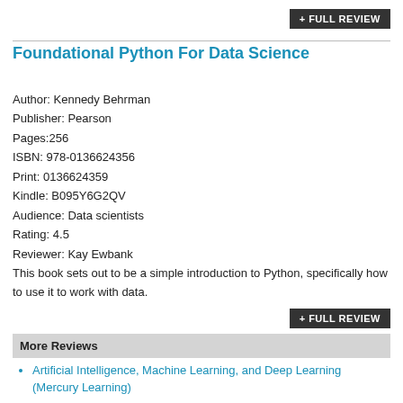+ FULL REVIEW
Foundational Python For Data Science
Author: Kennedy Behrman
Publisher: Pearson
Pages:256
ISBN: 978-0136624356
Print: 0136624359
Kindle: B095Y6G2QV
Audience: Data scientists
Rating: 4.5
Reviewer: Kay Ewbank
This book sets out to be a simple introduction to Python, specifically how to use it to work with data.
+ FULL REVIEW
More Reviews
Artificial Intelligence, Machine Learning, and Deep Learning (Mercury Learning)
Professional Scrum Development with Azure DevOps
Expert Performance Indexing in SQL Server 2019
TensorFlow 2 Pocket Primer